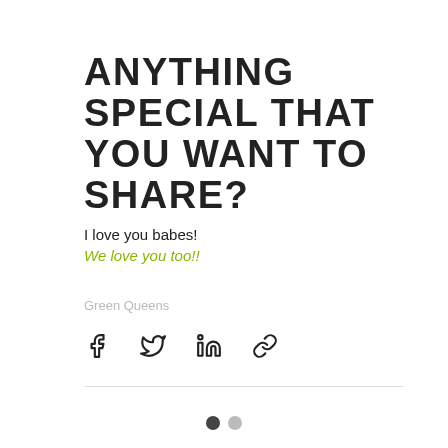ANYTHING SPECIAL THAT YOU WANT TO SHARE?
I love you babes!
We love you too!!
Green Queens
[Figure (infographic): Social share icons: Facebook, Twitter, LinkedIn, Link]
• •